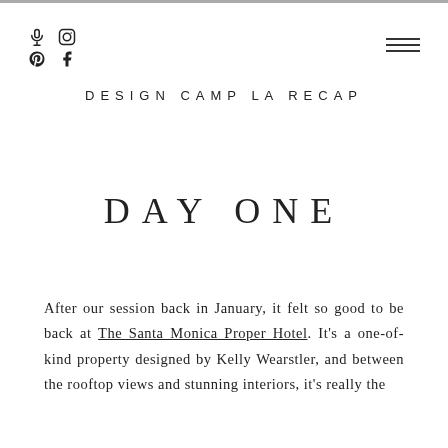[Figure (other): Social media icons: microphone, Instagram, Pinterest, Facebook in two rows]
[Figure (other): Hamburger menu icon with three horizontal lines]
DESIGN CAMP LA RECAP
DAY ONE
After our session back in January, it felt so good to be back at The Santa Monica Proper Hotel. It's a one-of-kind property designed by Kelly Wearstler, and between the rooftop views and stunning interiors, it's really the